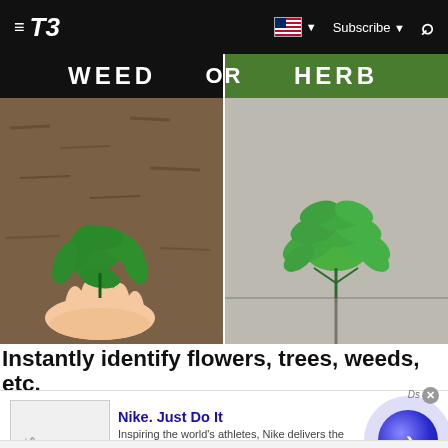T3 — Subscribe | Search
[Figure (photo): Split image showing 'WEED OR HERB' — left side shows a hand holding a green weed plant over mulch, right side shows a basil herb plant growing from concrete]
Instantly identify flowers, trees, weeds, etc.
[Figure (screenshot): Advertisement: Nike. Just Do It — Inspiring the world's athletes, Nike delivers the deals — www.nike.com — with a blue circular arrow button]